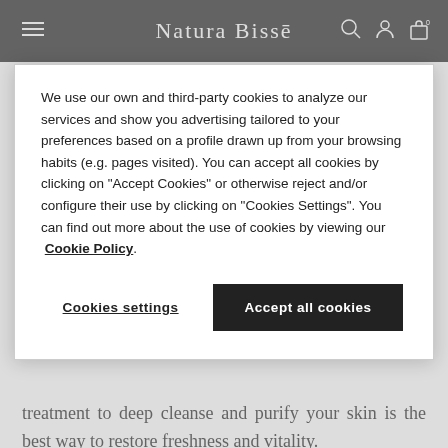Natura Bissé
We use our own and third-party cookies to analyze our services and show you advertising tailored to your preferences based on a profile drawn up from your browsing habits (e.g. pages visited). You can accept all cookies by clicking on "Accept Cookies" or otherwise reject and/or configure their use by clicking on "Cookies Settings". You can find out more about the use of cookies by viewing our Cookie Policy.
Cookies settings
Accept all cookies
treatment to deep cleanse and purify your skin is the best way to restore freshness and vitality.
The O2 Relax purifying facial is just what you need. This relaxing detox moment stars the Natura Bissé Oxygen Line and combines an in-depth cleansing ritual, effective massage techniques, and powerful